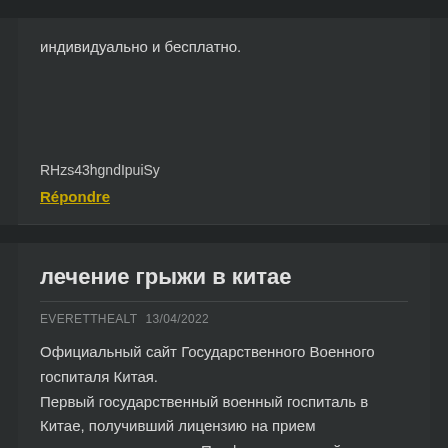индивидуально и бесплатно.
RHzs43hgndIpuiSy
Répondre
лечение грыжи в китае
EVERETTHEALT  13/04/2022
Официальный сайт Государственного Военного госпиталя Китая.
Первый государственный военный госпиталь в Китае, получивший лицензию на прием иностранных граждан. Профессиональный